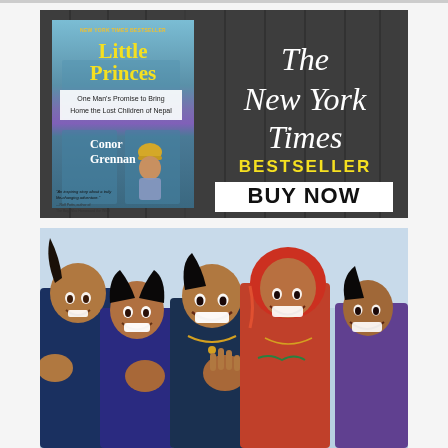[Figure (photo): Advertisement for 'Little Princes' book by Conor Grennan, showing book cover on dark wood-plank background with The New York Times Bestseller logo and BUY NOW button]
[Figure (photo): Photo of five smiling children, appearing to be from Nepal, laughing and gesturing toward the camera]